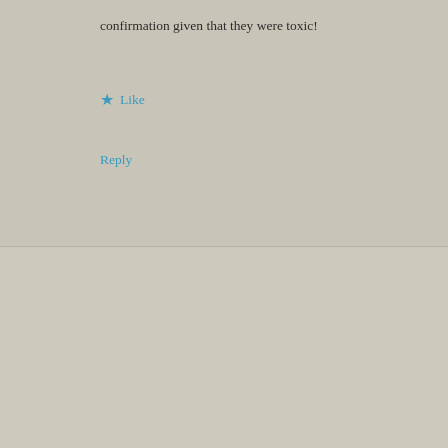confirmation given that they were toxic!
★ Like
Reply
Leave a Reply
Your email address will not be published. Required fields are marked *
Advertisements
AUTOMATTIC
Build a better web and a better world.